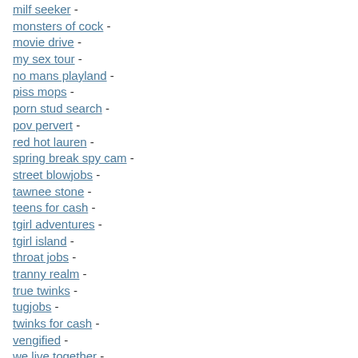milf seeker -
monsters of cock -
movie drive -
my sex tour -
no mans playland -
piss mops -
porn stud search -
pov pervert -
red hot lauren -
spring break spy cam -
street blowjobs -
tawnee stone -
teens for cash -
tgirl adventures -
tgirl island -
throat jobs -
tranny realm -
true twinks -
tugjobs -
twinks for cash -
vengified -
we live together -
young ripe and ready -